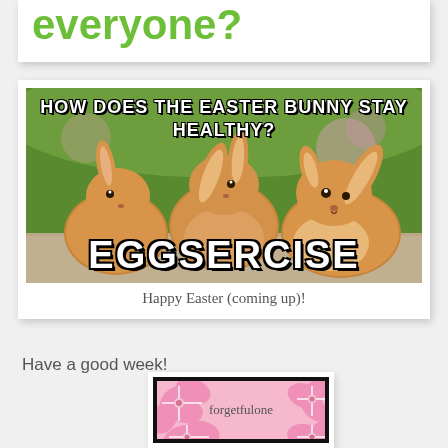everyone?
[Figure (photo): Easter bunny meme image showing three fluffy brown rabbits with text 'HOW DOES THE EASTER BUNNY STAY HEALTHY?' at top and 'EGGSERCISE' at bottom in Impact font]
Happy Easter (coming up)!
Have a good week!
[Figure (logo): forgetfulone blog logo with pink hibiscus flowers on pink background with thick black border]